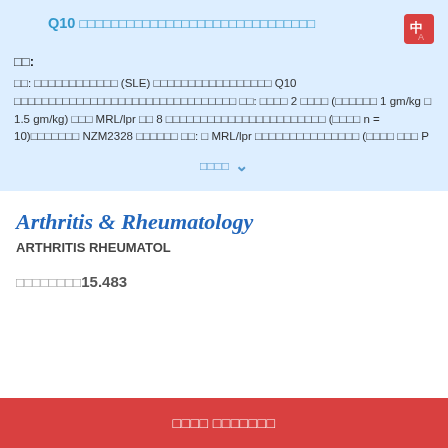□□ Q10 □□□□□□□□□□□□□□□□□□□□□□□
□□:
□□: □□□□□□□□□□□□ (SLE) □□□□□□□□□□□□□□□□□ Q10 □□□□□□□□□□□□□□□□□□□□□□□□□□□□□□□□ □□: □□□□ 2 □□□□ (□□□□□□ 1 gm/kg □ 1.5 gm/kg) □□□ MRL/lpr □□ 8 □□□□□□□□□□□□□□□□□□□□□□□ (□□□□ n = 10)□□□□□□□ NZM2328 □□□□□□ □□: □ MRL/lpr □□□□□□□□□□□□□□□ (□□□□ □□□ P
□□□□   ∨
Arthritis & Rheumatology
ARTHRITIS RHEUMATOL
□□□□□□□□15.483
□□□□ □□□□□□□